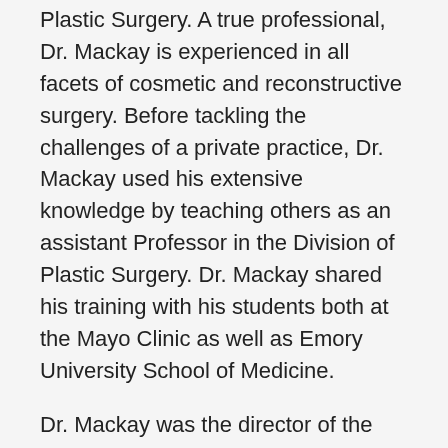Plastic Surgery. A true professional, Dr. Mackay is experienced in all facets of cosmetic and reconstructive surgery. Before tackling the challenges of a private practice, Dr. Mackay used his extensive knowledge by teaching others as an assistant Professor in the Division of Plastic Surgery. Dr. Mackay shared his training with his students both at the Mayo Clinic as well as Emory University School of Medicine.
Dr. Mackay was the director of the aesthetic and reconstructive fellowship program during his stay with the Mayo Clinic. During his time with the Emory Clinic, Dr. Mackay was the director of the Craniofacial program and Chief of Plastic Surgery at Children's Healthcare of Atlanta- Egleston. In addition to his teachings and private practice, Dr. Mackay has published numerous scientific articles and book chapters. Dr. Mackay continues to share his vast wealth of knowledge as a guest speaker both nationally and internationally. His meticulous desire to